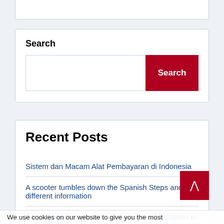Search
Search
Recent Posts
Sistem dan Macam Alat Pembayaran di Indonesia
A scooter tumbles down the Spanish Steps and different information
Renovation Technique to Enhance IaaS Adoption in
We use cookies on our website to give you the most